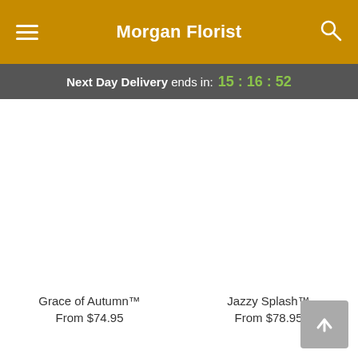Morgan Florist
Next Day Delivery ends in: 15:16:52
[Figure (photo): Product image placeholder for Grace of Autumn flower arrangement]
Grace of Autumn™
From $74.95
[Figure (photo): Product image placeholder for Jazzy Splash flower arrangement]
Jazzy Splash™
From $78.95